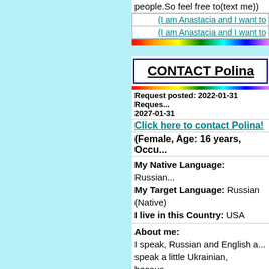people.So feel free to(text me))
(I am Anastacia and I want to
(I am Anastacia and I want to
CONTACT Polina
Request posted: 2022-01-31 Reques... 2027-01-31
Click here to contact Polina!
(Female, Age: 16 years, Occu...
My Native Language: Russian
My Target Language: Russian (Native)
I live in this Country: USA
About me:
I speak, Russian and English a... speak a little Ukrainian, becaus... language. I'm looking for someo...
Interests:
I love memes, cars, books, dra... out
Favorite Music:
Russian post punk or pop